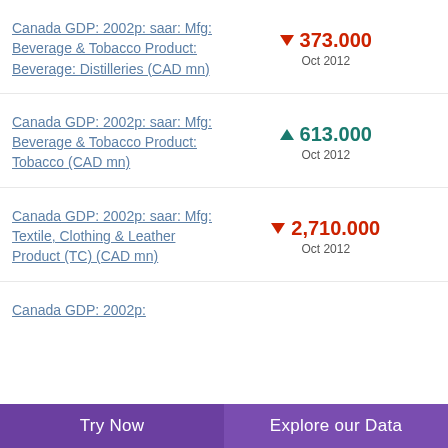Canada GDP: 2002p: saar: Mfg: Beverage & Tobacco Product: Beverage: Distilleries (CAD mn)
Canada GDP: 2002p: saar: Mfg: Beverage & Tobacco Product: Tobacco (CAD mn)
Canada GDP: 2002p: saar: Mfg: Textile, Clothing & Leather Product (TC) (CAD mn)
Canada GDP: 2002p: ...
Try Now | Explore our Data